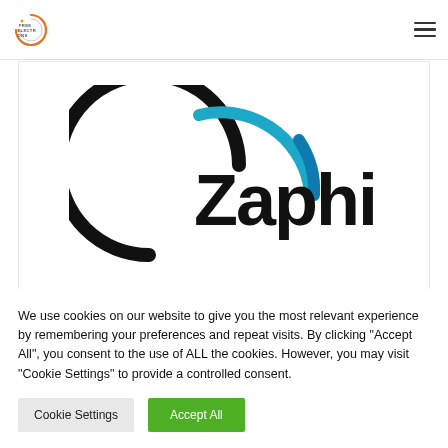[Figure (logo): Free Electrons logo — circular orange arc with electron symbol, text FREE ELECTRONS in grey]
[Figure (logo): Zaphiro logo — black partial circle arc with blue/teal upper arc and bold black text 'Zaphiro']
We use cookies on our website to give you the most relevant experience by remembering your preferences and repeat visits. By clicking "Accept All", you consent to the use of ALL the cookies. However, you may visit "Cookie Settings" to provide a controlled consent.
Cookie Settings
Accept All